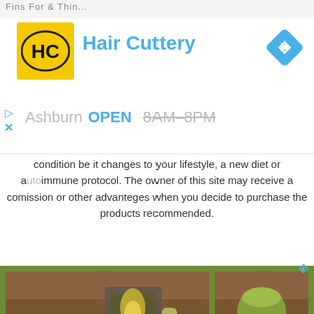[Figure (screenshot): Hair Cuttery advertisement banner with yellow HC logo, blue Hair Cuttery text, navigation diamond icon, and Ashburn OPEN 8AM-8PM text with close buttons]
condition be it changes to your lifestyle, a new diet or autoimmune protocol. The owner of this site may receive a comission or other advanteges when you decide to purchase the products recommended.
[Figure (photo): Spa and wellness product photo collage showing candles, essential oil bottles, starfish, herbs (mint leaves), lemons, soaps, flowers, and natural ingredients on wooden surface background, arranged in a grid of multiple photos]